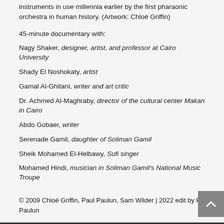instruments in use millennia earlier by the first pharaonic orchestra in human history. (Artwork: Chloé Griffin)
45-minute documentary with:
Nagy Shaker, designer, artist, and professor at Cairo University
Shady El Noshokaty, artist
Gamal Al-Ghitani, writer and art critic
Dr. Achmed Al-Maghraby, director of the cultural center Makan in Cairo
Abdo Gobaer, writer
Serenade Gamil, daughter of Soliman Gamil
Sheik Mohamed El-Helbawy, Sufi singer
Mohamed Hindi, musician in Soliman Gamil's National Music Troupe
© 2009 Chloé Griffin, Paul Paulun, Sam Wilder | 2022 edit by Paul Paulun